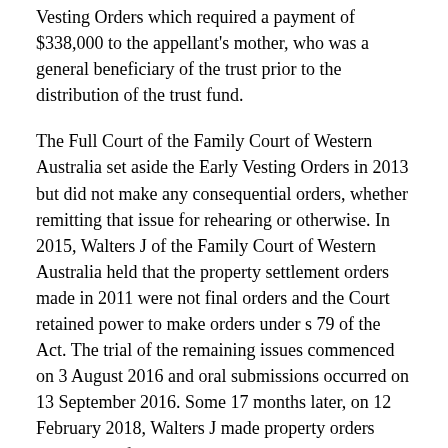Vesting Orders which required a payment of $338,000 to the appellant's mother, who was a general beneficiary of the trust prior to the distribution of the trust fund.
The Full Court of the Family Court of Western Australia set aside the Early Vesting Orders in 2013 but did not make any consequential orders, whether remitting that issue for rehearing or otherwise. In 2015, Walters J of the Family Court of Western Australia held that the property settlement orders made in 2011 were not final orders and the Court retained power to make orders under s 79 of the Act. The trial of the remaining issues commenced on 3 August 2016 and oral submissions occurred on 13 September 2016. Some 17 months later, on 12 February 2018, Walters J made property orders under s 79 of the Act, but those orders did not set aside or vary the 2011 property orders and were inconsistent with them. Walters J retired three days after the delivery of his judgment.
On 9 September 2016, prior to oral submissions, the corporate trustee and the husband's mother (Additional Parties) had relied on ten statements and rulings made by Walters J during the trial